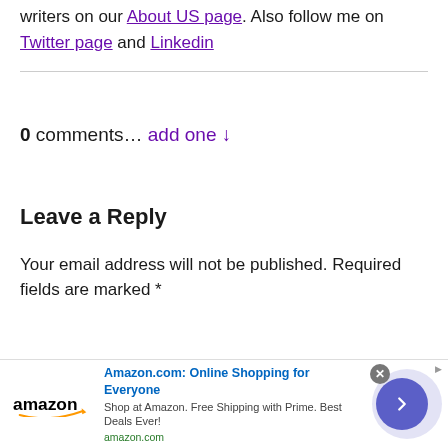writers on our About US page. Also follow me on Twitter page and Linkedin
0 comments… add one ↓
Leave a Reply
Your email address will not be published. Required fields are marked *
[Figure (infographic): Amazon advertisement banner: Amazon logo on left, 'Amazon.com: Online Shopping for Everyone' headline, 'Shop at Amazon. Free Shipping with Prime. Best Deals Ever!' description, amazon.com URL in green, purple arrow button on right, close X button.]